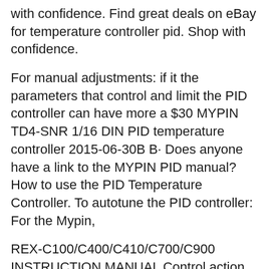with confidence. Find great deals on eBay for temperature controller pid. Shop with confidence.
For manual adjustments: if it the parameters that control and limit the PID controller can have more a $30 MYPIN TD4-SNR 1/16 DIN PID temperature controller 2015-06-30B B· Does anyone have a link to the MYPIN PID manual? How to use the PID Temperature Controller. To autotune the PID controller: For the Mypin,
REX-C100/C400/C410/C700/C900 INSTRUCTION MANUAL Control action F: PID action with autotuning If the ambient temperature rises above 50 C,